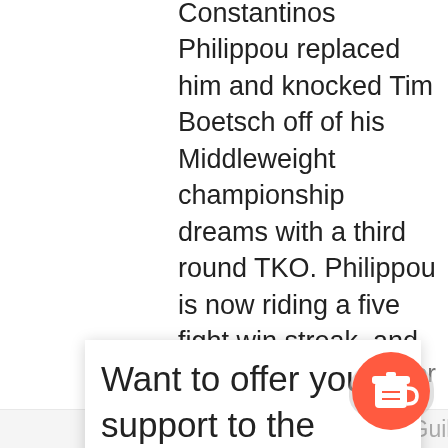Constantinos Philippou replaced him and knocked Tim Boetsch off of his Middleweight championship dreams with a third round TKO. Philippou is now riding a five fight win streak, and hands Boetsch his first loss at Middleweight.
Want to offer your support to the Ringside Report Network? Buy us a coffee !!! Donate what you can on a one-time or recurring basis. Become a valued member of the Ringside Report Universe with a recurring monthly donation. Everything helps us sustain and grow!!!
Varner defeated Melvin Guilliard in a split
[Figure (illustration): Red circular button with a white to-go coffee cup icon, with a grey partial circle behind it]